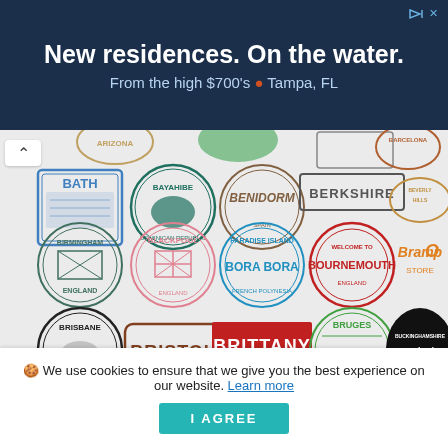[Figure (screenshot): Advertisement banner: 'New residences. On the water. From the high $700's • Tampa, FL' on a dark navy background]
[Figure (screenshot): Grid of travel/location rubber stamp icons including BATH, BAYAHIBE, BENIDORM, BERKSHIRE, BEVERLY HILLS, BIRMINGHAM ENGLAND, BLACKPOOL, BORA BORA, BOURNEMOUTH, BrampOn, BRISBANE QUEENSLAND, BRISTOL, BRITTANY France, BRUGES, BUCKINGHAMSHIRE United Kingdom, and partial row below]
🍪 We use cookies to ensure that we give you the best experience on our website. Learn more  I AGREE